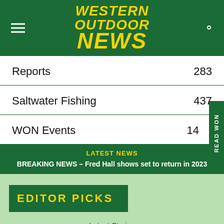WESTERN OUTDOOR NEWS
Reports 283
Saltwater Fishing 437
WON Events 14
LATEST NEWS
BREAKING NEWS – Fred Hall shows set to return in 2023
EDITOR PICKS
Latest Stories